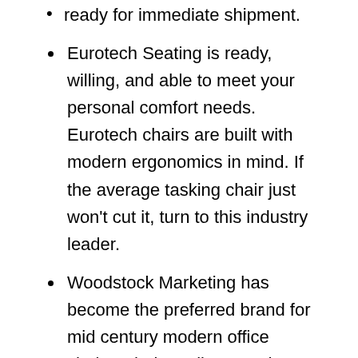ready for immediate shipment.
Eurotech Seating is ready, willing, and able to meet your personal comfort needs. Eurotech chairs are built with modern ergonomics in mind. If the average tasking chair just won't cut it, turn to this industry leader.
Woodstock Marketing has become the preferred brand for mid century modern office chairs. Their Joplin, Creedence, and Hendrix models are definitely worth a look.
With a cool desk and matching chair you'll be on your way to a well rounded interior. The next step is to account for your storage needs. Classic metal file cabinets are actually coming back in style as they offer an industrial vibe. That